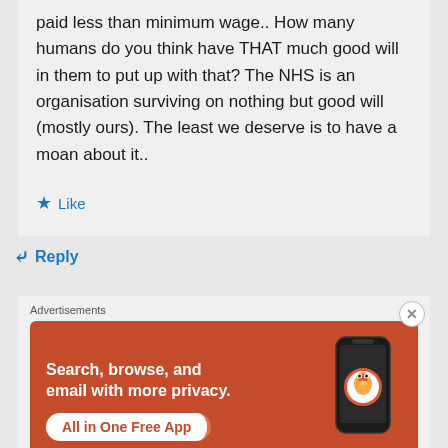paid less than minimum wage.. How many humans do you think have THAT much good will in them to put up with that? The NHS is an organisation surviving on nothing but good will (mostly ours). The least we deserve is to have a moan about it..
★ Like
↳ Reply
Advertisements
[Figure (other): DuckDuckGo advertisement banner: 'Search, browse, and email with more privacy. All in One Free App' with phone image and DuckDuckGo logo on orange background]